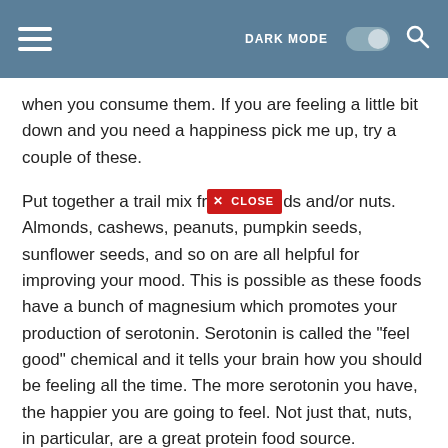DARK MODE [toggle] [search]
when you consume them. If you are feeling a little bit down and you need a happiness pick me up, try a couple of these.
Put together a trail mix from seeds and/or nuts. Almonds, cashews, peanuts, pumpkin seeds, sunflower seeds, and so on are all helpful for improving your mood. This is possible as these foods have a bunch of magnesium which promotes your production of serotonin. Serotonin is called the "feel good" chemical and it tells your brain how you should be feeling all the time. The more serotonin you have, the happier you are going to feel. Not just that, nuts, in particular, are a great protein food source.
Now you realize that junk food isn't necessarily what you